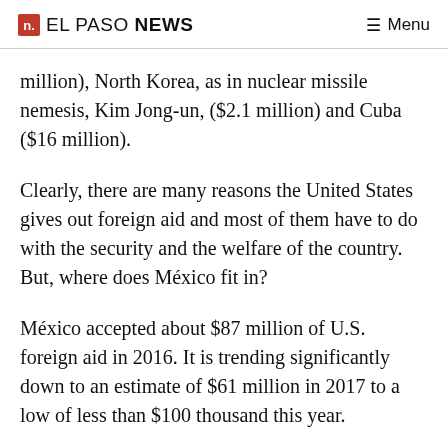n. EL PASO NEWS  ≡ Menu
million), North Korea, as in nuclear missile nemesis, Kim Jong-un, ($2.1 million) and Cuba ($16 million).
Clearly, there are many reasons the United States gives out foreign aid and most of them have to do with the security and the welfare of the country. But, where does México fit in?
México accepted about $87 million of U.S. foreign aid in 2016. It is trending significantly down to an estimate of $61 million in 2017 to a low of less than $100 thousand this year.